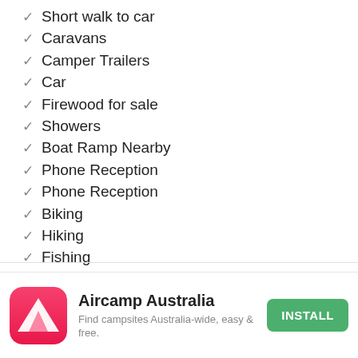Short walk to car
Caravans
Camper Trailers
Car
Firewood for sale
Showers
Boat Ramp Nearby
Phone Reception
Phone Reception
Biking
Hiking
Fishing
Walking Trails
Swimming
Coffee Nearby (partial)
[Figure (logo): Aircamp Australia app icon — pink/red rounded square with white triangle tent shape]
Aircamp Australia
Find campsites Australia-wide, easy & free.
INSTALL